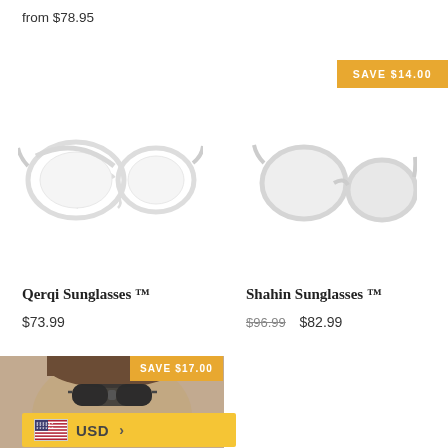from $78.95
[Figure (other): SAVE $14.00 badge in orange]
[Figure (illustration): Qerqi Sunglasses product image - white/clear aviator sunglasses on white background]
Qerqi Sunglasses ™
$73.99
[Figure (illustration): Shahin Sunglasses product image - white/clear round sunglasses on white background]
Shahin Sunglasses ™
$96.99  $82.99
[Figure (other): SAVE $17.00 badge in orange]
[Figure (photo): Person wearing dark sunglasses, partial face visible, photo with muted tones]
[Figure (other): USD currency selector with US flag]